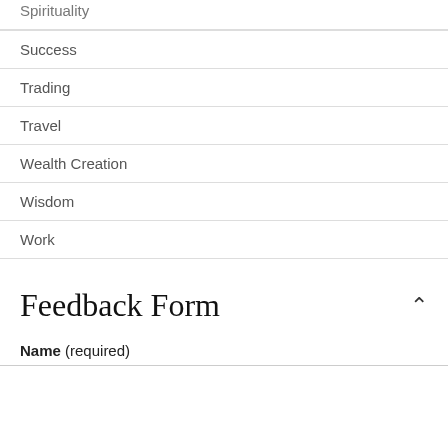Spirituality
Success
Trading
Travel
Wealth Creation
Wisdom
Work
Feedback Form
Name (required)